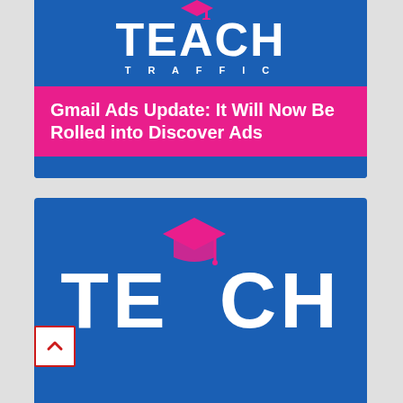[Figure (logo): Teach Traffic logo on blue background with 'TEACH' in large white bold letters (with pink graduation cap over the 'A') and 'TRAFFIC' in white spaced letters below]
Gmail Ads Update: It Will Now Be Rolled into Discover Ads
[Figure (logo): Teach Traffic logo on blue background with large white 'TEACH' text and pink graduation cap replacing the letter 'A']